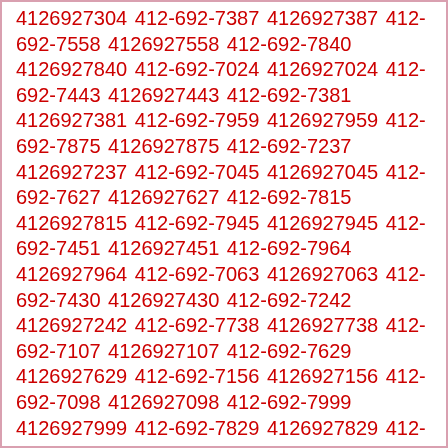4126927304 412-692-7387 4126927387 412-692-7558 4126927558 412-692-7840 4126927840 412-692-7024 4126927024 412-692-7443 4126927443 412-692-7381 4126927381 412-692-7959 4126927959 412-692-7875 4126927875 412-692-7237 4126927237 412-692-7045 4126927045 412-692-7627 4126927627 412-692-7815 4126927815 412-692-7945 4126927945 412-692-7451 4126927451 412-692-7964 4126927964 412-692-7063 4126927063 412-692-7430 4126927430 412-692-7242 4126927242 412-692-7738 4126927738 412-692-7107 4126927107 412-692-7629 4126927629 412-692-7156 4126927156 412-692-7098 4126927098 412-692-7999 4126927999 412-692-7829 4126927829 412-692-7624 4126927624 412-692-7174 4126927174 412-692-7491 4126927491 412-692-7567 4126927567 412-692-7729 4126927729 412-692-7017 4126927017 412-692-7196 4126927196 412-692-7370 4126927370 412-692-7448 4126927448 412-